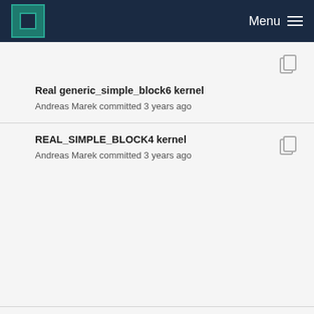MPCDF Menu
Real generic_simple_block6 kernel
Andreas Marek committed 3 years ago
REAL_SIMPLE_BLOCK4 kernel
Andreas Marek committed 3 years ago
Real generic_simple_block8 kernel (partial)